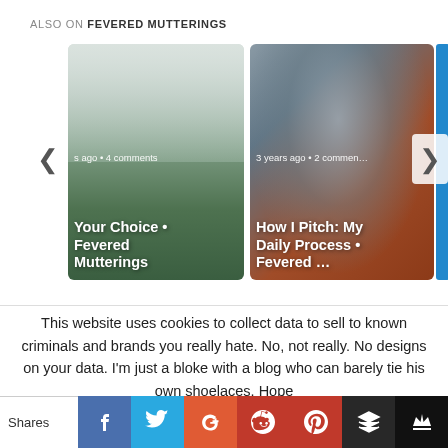ALSO ON FEVERED MUTTERINGS
[Figure (screenshot): Carousel of two blog post cards. Left card shows a foggy landscape with a signpost, meta text '…s ago • 4 comments', title 'Your Choice • Fevered Mutterings'. Right card shows a Greek/Roman statue, meta text '3 years ago • 2 commen…', title 'How I Pitch: My Daily Process • Fevered …'. Left and right navigation arrows visible.]
This website uses cookies to collect data to sell to known criminals and brands you really hate. No, not really. No designs on your data. I'm just a bloke with a blog who can barely tie his own shoelaces. Hope
[Figure (screenshot): Social sharing bar with buttons: Shares label, Facebook (thumbs up), Twitter (bird), Google+, Reddit, Pinterest, Buffer (stack icon), crown icon]